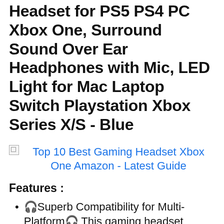Headset for PS5 PS4 PC Xbox One, Surround Sound Over Ear Headphones with Mic, LED Light for Mac Laptop Switch Playstation Xbox Series X/S - Blue
[Figure (other): Broken image placeholder followed by a hyperlink text: Top 10 Best Gaming Headset Xbox One Amazon - Latest Guide]
Features :
🎧Superb Compatibility for Multi-Platform🎧 This gaming headset supports PS5, PS4, PS4 Pro/Slim, Xbox